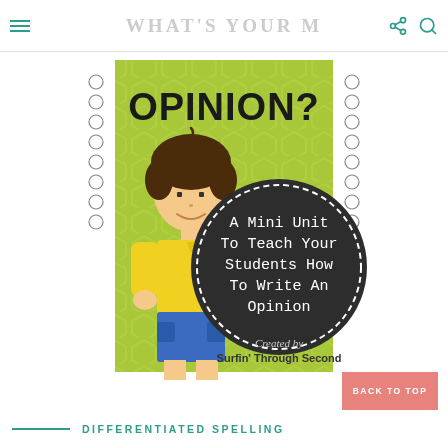What's Your M
[Figure (illustration): Educational workbook cover illustration. Green geometric hexagon patterned background with white border containing circles on left and right. Title text 'Opinion?' in large black font at top. A cartoon boy with dark hair, yellow polo shirt, blue cargo shorts, and blue sneakers standing on the left. A dark chalkboard-style circle on the right containing white text: 'A Mini Unit To Teach Your Students How To Write An Opinion'. At the bottom in cursive and bold: 'Created by Surfin' Through Second'.]
BACK TO TOP
DIFFERENTIATED SPELLING